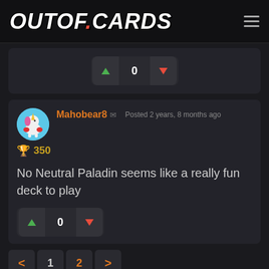OUTOF.CARDS
[Figure (screenshot): Vote widget showing score of 0 with up and down arrow buttons]
Mahobear8 — Posted 2 years, 8 months ago
🏆 350
No Neutral Paladin seems like a really fun deck to play
[Figure (screenshot): Vote widget showing score of 0 with up and down arrow buttons]
< 1 2 >